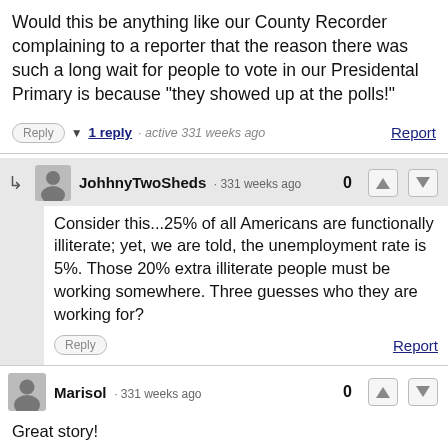Would this be anything like our County Recorder complaining to a reporter that the reason there was such a long wait for people to vote in our Presidental Primary is because "they showed up at the polls!"
Reply | 1 reply · active 331 weeks ago | Report
JohhnyTwoSheds · 331 weeks ago  0
Consider this...25% of all Americans are functionally illiterate; yet, we are told, the unemployment rate is 5%. Those 20% extra illiterate people must be working somewhere. Three guesses who they are working for?
Reply | Report
Marisol · 331 weeks ago  0
Great story!
I encounter at work almost everyday.. Liked the